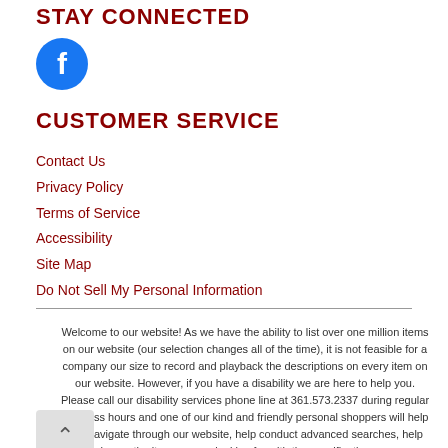STAY CONNECTED
[Figure (logo): Facebook circular logo icon - blue circle with white 'f']
CUSTOMER SERVICE
Contact Us
Privacy Policy
Terms of Service
Accessibility
Site Map
Do Not Sell My Personal Information
Welcome to our website! As we have the ability to list over one million items on our website (our selection changes all of the time), it is not feasible for a company our size to record and playback the descriptions on every item on our website. However, if you have a disability we are here to help you. Please call our disability services phone line at 361.573.2337 during regular business hours and one of our kind and friendly personal shoppers will help you navigate through our website, help conduct advanced searches, help you choose the item you are looking for with the specifications you are seeking, read you the specifications of any item and consult with you about